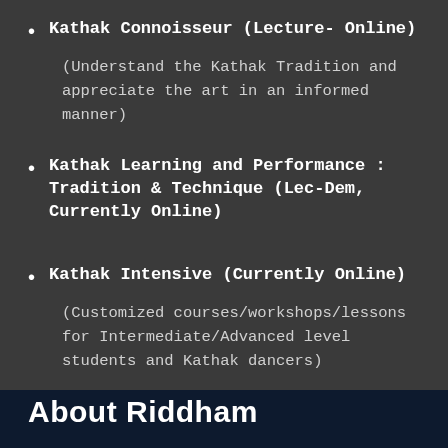Kathak Connoisseur (Lecture- Online)
(Understand the Kathak Tradition and appreciate the art in an informed manner)
Kathak Learning and Performance : Tradition & Technique (Lec-Dem, Currently Online)
Kathak Intensive (Currently Online)
(Customized courses/workshops/lessons for Intermediate/Advanced level students and Kathak dancers)
About Riddham